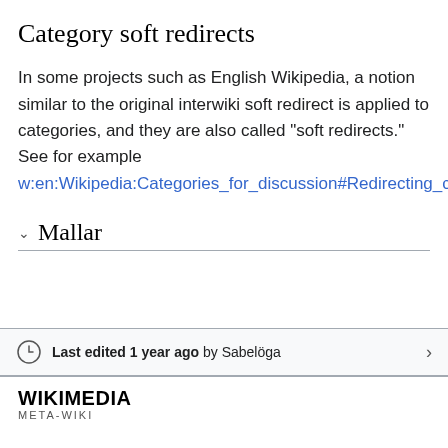Category soft redirects
In some projects such as English Wikipedia, a notion similar to the original interwiki soft redirect is applied to categories, and they are also called "soft redirects." See for example w:en:Wikipedia:Categories_for_discussion#Redirecting_categories.
Mallar
Last edited 1 year ago by Sabelöga
[Figure (logo): Wikimedia META-WIKI logo text]